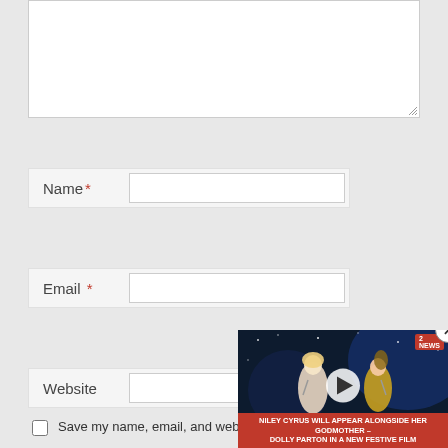[Figure (screenshot): Textarea input box with resize handle at bottom right, shown in white on gray background]
Name *
Email *
Website
Save my name, email, and website in my browser for the next time I comment.
[Figure (screenshot): Video overlay showing two women performing on stage (Miley Cyrus and Dolly Parton), with a play button, close button (X), red caption bar reading 'NILEY CYRUS WILL APPEAR ALONGSIDE HER GODMOTHER - DOLLY PARTON IN A NEW FESTIVE FILM', and a news logo badge]